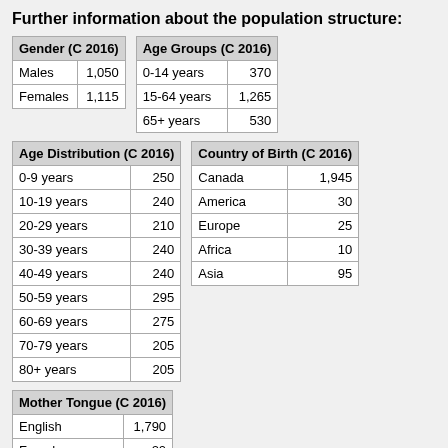Further information about the population structure:
| Gender (C 2016) |  |
| --- | --- |
| Males | 1,050 |
| Females | 1,115 |
| Age Groups (C 2016) |  |
| --- | --- |
| 0-14 years | 370 |
| 15-64 years | 1,265 |
| 65+ years | 530 |
| Age Distribution (C 2016) |  |
| --- | --- |
| 0-9 years | 250 |
| 10-19 years | 240 |
| 20-29 years | 210 |
| 30-39 years | 240 |
| 40-49 years | 240 |
| 50-59 years | 295 |
| 60-69 years | 275 |
| 70-79 years | 205 |
| 80+ years | 205 |
| Country of Birth (C 2016) |  |
| --- | --- |
| Canada | 1,945 |
| America | 30 |
| Europe | 25 |
| Africa | 10 |
| Asia | 95 |
| Mother Tongue (C 2016) |  |
| --- | --- |
| English | 1,790 |
| French | 20 |
| Other language | 255 |